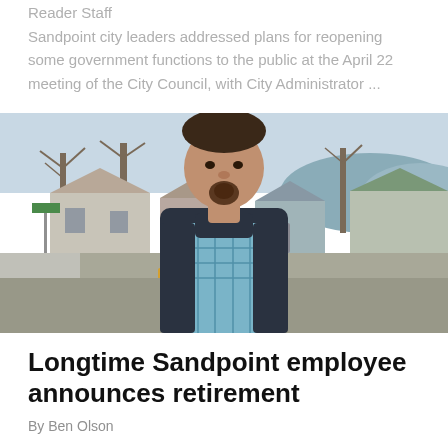Reader Staff
Sandpoint city leaders addressed plans for reopening some government functions to the public at the April 22 meeting of the City Council, with City Administrator ...
[Figure (photo): Outdoor photo of a middle-aged man with a goatee, wearing a dark zip-up hoodie over a plaid shirt, standing on a street corner with houses and bare winter trees in the background.]
Longtime Sandpoint employee announces retirement
By Ben Olson